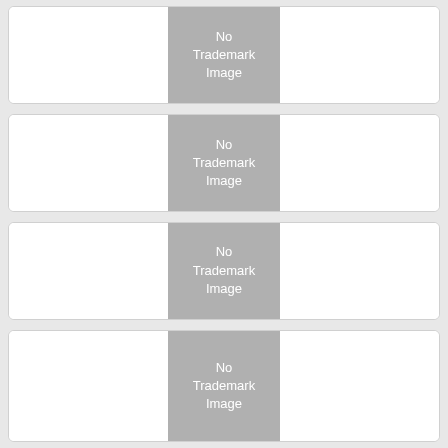[Figure (other): Trademark record card 1 with a gray placeholder box labeled 'No Trademark Image' in the center, white areas on left and right]
[Figure (other): Trademark record card 2 with a gray placeholder box labeled 'No Trademark Image' in the center, white areas on left and right]
[Figure (other): Trademark record card 3 with a gray placeholder box labeled 'No Trademark Image' in the center, white areas on left and right]
[Figure (other): Trademark record card 4 with a gray placeholder box labeled 'No Trademark Image' in the center, white areas on left and right, partially cut off at bottom]